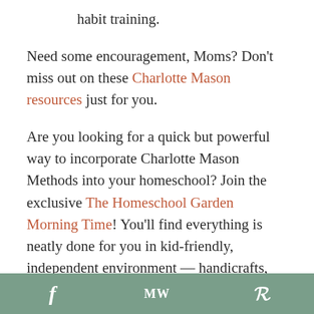habit training.
Need some encouragement, Moms? Don't miss out on these Charlotte Mason resources just for you.
Are you looking for a quick but powerful way to incorporate Charlotte Mason Methods into your homeschool? Join the exclusive The Homeschool Garden Morning Time! You'll find everything is neatly done for you in kid-friendly, independent environment — handicrafts, activities, poetry, valuable videos,
f  MW  p